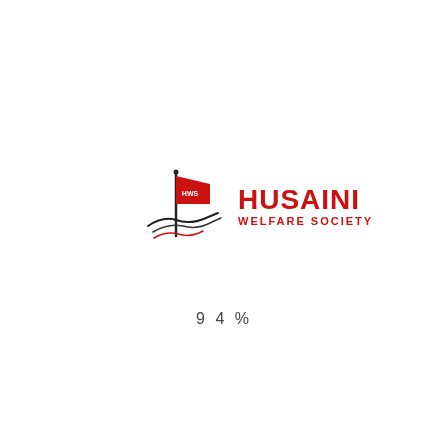[Figure (logo): Husaini Welfare Society logo: a black pole with a red flag bearing white text 'HWS', with decorative wave/swoosh beneath, next to bold red text 'HUSAINI' and smaller red text 'WELFARE SOCIETY']
9 4 %